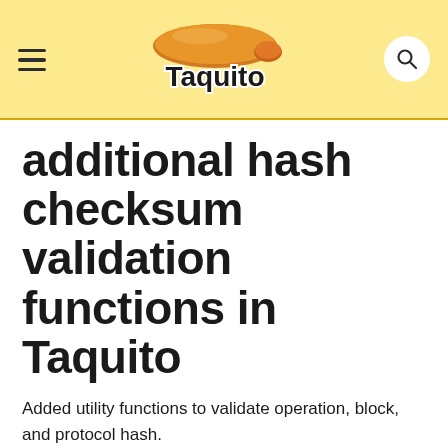Taquito
additional hash checksum validation functions in Taquito
Added utility functions to validate operation, block, and protocol hash.
Example of use:
import { validateBlock,